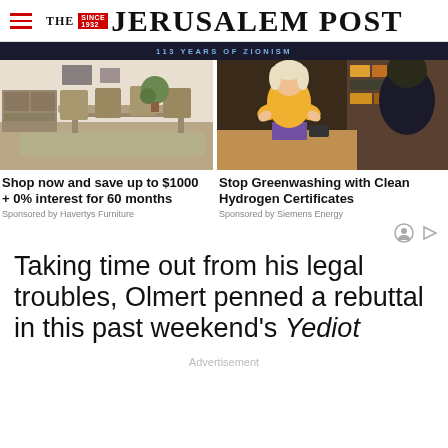THE JERUSALEM POST
[Figure (photo): Banner strip with text '113 YEARS OF ZIONISM' on dark background]
[Figure (photo): Dining room furniture advertisement showing table and chairs]
Shop now and save up to $1000 + 0% interest for 60 months
Sponsored by Havertys Furniture
[Figure (photo): Woman in yellow sweater speaking with another person across a table]
Stop Greenwashing with Clean Hydrogen Certificates
Sponsored by Siemens Energy
Taking time out from his legal troubles, Olmert penned a rebuttal in this past weekend's Yediot
Advertisement